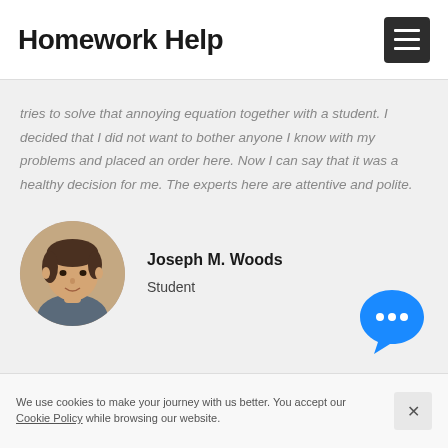Homework Help
tries to solve that annoying equation together with a student. I decided that I did not want to bother anyone I know with my problems and placed an order here. Now I can say that it was a healthy decision for me. The experts here are attentive and polite.
[Figure (photo): Circular profile photo of Joseph M. Woods, a young male student]
Joseph M. Woods
Student
[Figure (other): Blue chat bubble icon with three white dots (ellipsis)]
We use cookies to make your journey with us better. You accept our Cookie Policy while browsing our website.